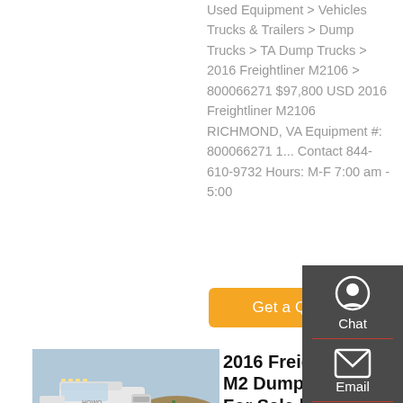Used Equipment > Vehicles Trucks & Trailers > Dump Trucks > TA Dump Trucks > 2016 Freightliner M2106 > 800066271 $97,800 USD 2016 Freightliner M2106 RICHMOND, VA Equipment #: 800066271 1... Contact 844-610-9732 Hours: M-F 7:00 am - 5:00
Get a Quote
[Figure (photo): White semi truck / Howo tractor truck parked on a lot with blue sky background]
2016 Freightliner M2 Dump Truck For Sale | Brooklyn, MS | 186507 ...